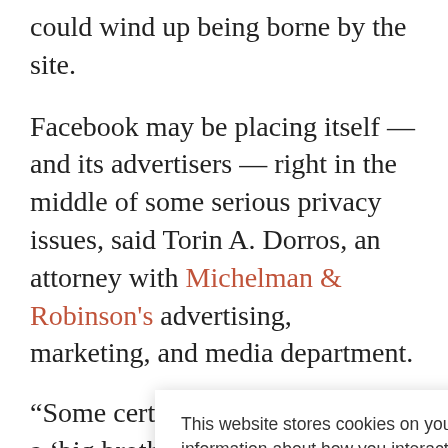could wind up being borne by the site.
Facebook may be placing itself — and its advertisers — right in the middle of some serious privacy issues, said Torin A. Dorros, an attorney with Michelman & Robinson's advertising, marketing, and media department.
“Some certainly could try to make a ‘big brother’ type of
This website stores cookies on your computer. These cookies are used to collect information about how you interact with our website and allow us to remember you. We use this information in order to improve and customize your browsing experience and for analytics and metrics about our visitors both on this website and other media. To find out more about the cookies we use, see our Privacy Policy. California residents have the right to direct us not to sell their personal information to third parties by filing an Opt-Out Request: Do Not Sell My Personal Info.
Accept